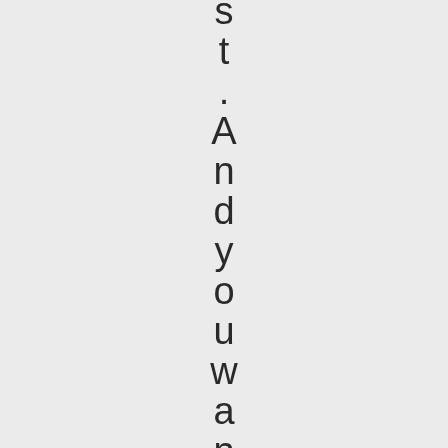s t . A n d y o u w a n t t o d